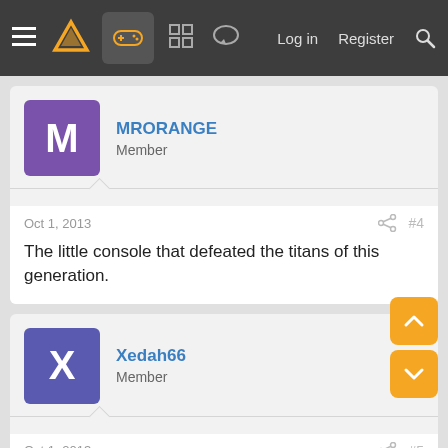Navigation bar with menu, logo, gamepad icon, grid icon, chat icon, Log in, Register, Search
MRORANGE
Member
Oct 1, 2013   #4
The little console that defeated the titans of this generation.
Xedah66
Member
Oct 1, 2013   #5
I still have my launch wii. Amazing system
cw_sasuke
If all DLC came tied to $13 figurines, I'd consider all DLC to be